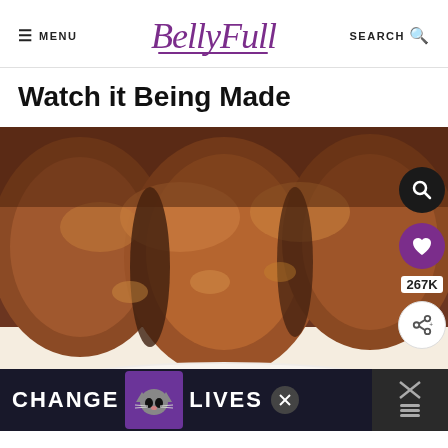≡ MENU | BellyFull | SEARCH 🔍
Watch it Being Made
[Figure (photo): Close-up photo of a golden-brown bundt cake on a white plate, with interactive overlay icons (search, heart/save with 267K count, and share) on the right side]
CHANGE LIVES (advertisement banner with cat image)